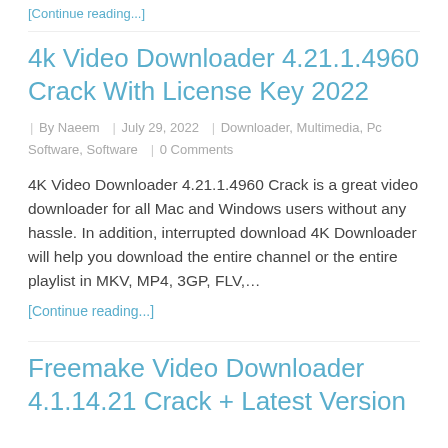[Continue reading...]
4k Video Downloader 4.21.1.4960 Crack With License Key 2022
By Naeem | July 29, 2022 | Downloader, Multimedia, Pc Software, Software | 0 Comments
4K Video Downloader 4.21.1.4960 Crack is a great video downloader for all Mac and Windows users without any hassle. In addition, interrupted download 4K Downloader will help you download the entire channel or the entire playlist in MKV, MP4, 3GP, FLV,...
[Continue reading...]
Freemake Video Downloader 4.1.14.21 Crack + Latest Version